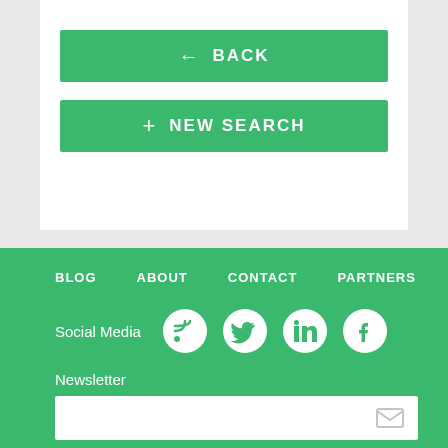[Figure (screenshot): Green BACK button with left arrow icon]
[Figure (screenshot): Green NEW SEARCH button with plus icon]
BLOG
ABOUT
CONTACT
PARTNERS
Social Media
Newsletter